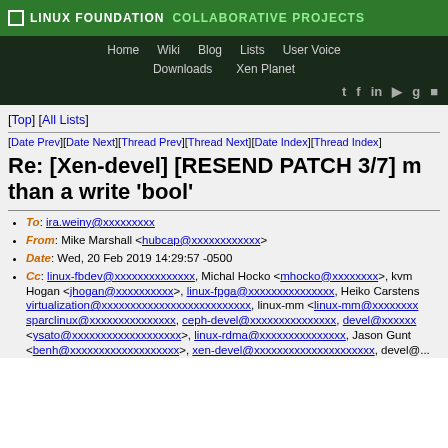LINUX FOUNDATION COLLABORATIVE PROJECTS
Home Wiki Blog Lists User Voice Downloads Xen Planet
[Top] [All Lists]
[Date Prev][Date Next][Thread Prev][Thread Next][Date Index][Thread Index]
Re: [Xen-devel] [RESEND PATCH 3/7] m than a write 'bool'
To: ira.weiny@xxxxxxxxx
From: Mike Marshall <hubcap@xxxxxxxxxxxx>
Date: Wed, 20 Feb 2019 14:29:57 -0500
Cc: linux-fbdev@xxxxxxxxxxxxxx, Michal Hocko <mhocko@xxxxxxxx>, kvm... Hogan <jhogan@xxxxxxxxxx>, linux-fpga@xxxxxxxxxxxxxxx, Heiko Carstens... virtualization@xxxxxxxxxxxxxxxxxxxxxxxxxx, linux-mm <linux-mm@xxxxxxxx... sparclinux@xxxxxxxxxxxxxxx, ceph-devel@xxxxxxxxxxxxxxx, devel@xxxxxx... <ysato@xxxxxxxxxxxxxxxxxxx>, linux-rdma@xxxxxxxxxxxxxxx, Jason Gunt... <benh@xxxxxxxxxxxxxxxxxxx>, xen-devel@xxxxxxxxxxxxxxxxxxxxx, devel@...